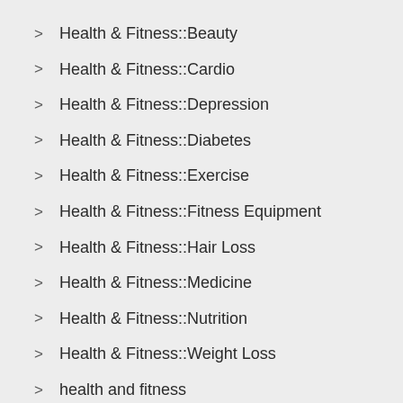Health & Fitness::Beauty
Health & Fitness::Cardio
Health & Fitness::Depression
Health & Fitness::Diabetes
Health & Fitness::Exercise
Health & Fitness::Fitness Equipment
Health & Fitness::Hair Loss
Health & Fitness::Medicine
Health & Fitness::Nutrition
Health & Fitness::Weight Loss
health and fitness
hobbies